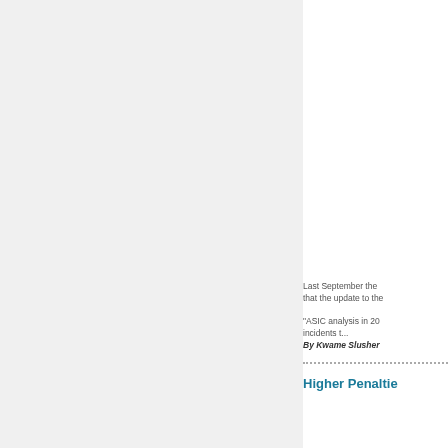Last September the that the update to the
"ASIC analysis in 20 incidents t...
By Kwame Slusher
Higher Penaltie